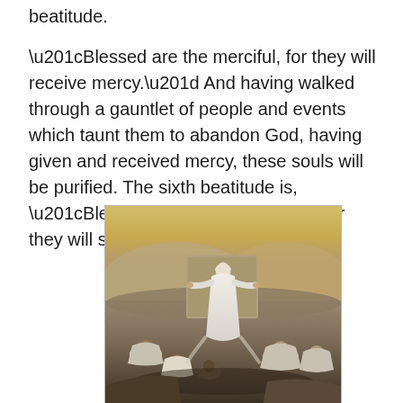beatitude.
“Blessed are the merciful, for they will receive mercy.” And having walked through a gauntlet of people and events which taunt them to abandon God, having given and received mercy, these souls will be purified. The sixth beatitude is, “Blessed are the pure in heart, for they will see God.”
[Figure (illustration): A painting depicting a figure in white robes (Jesus) standing and preaching to a group of seated and kneeling people in an ancient landscape setting with rocky terrain and a golden sky.]